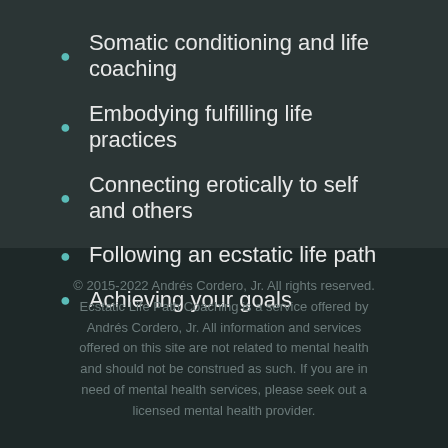Somatic conditioning and life coaching
Embodying fulfilling life practices
Connecting erotically to self and others
Following an ecstatic life path
Achieving your goals
© 2015-2022 Andrés Cordero, Jr. All rights reserved. Ecstatic Life Path Coaching is a service offered by Andrés Cordero, Jr. All information and services offered on this site are not related to mental health and should not be construed as such. If you are in need of mental health services, please seek out a licensed mental health provider.